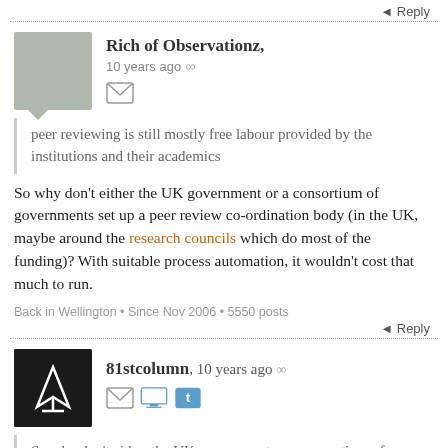↖ Reply
Rich of Observationz, 10 years ago ∞
peer reviewing is still mostly free labour provided by the institutions and their academics
So why don't either the UK government or a consortium of governments set up a peer review co-ordination body (in the UK, maybe around the research councils which do most of the funding)? With suitable process automation, it wouldn't cost that much to run.
Back in Wellington • Since Nov 2006 • 5550 posts
↖ Reply
81stcolumn, 10 years ago ∞
So why don't either the UK government or a consortium of governments set up a peer review